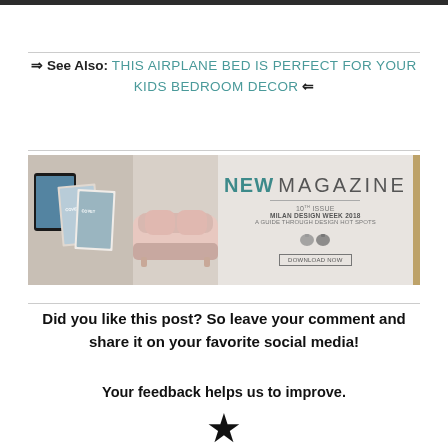⇒ See Also: THIS AIRPLANE BED IS PERFECT FOR YOUR KIDS BEDROOM DECOR ⇐
[Figure (other): Advertisement banner for a new magazine issue - Milan Design Week 2018 featuring magazine covers, a sofa, decorative objects, and a lamp. Text reads: NEW MAGAZINE 10th ISSUE MILAN DESIGN WEEK 2018 A GUIDE THROUGH DESIGN HOT SPOTS DOWNLOAD NOW]
Did you like this post? So leave your comment and share it on your favorite social media!

Your feedback helps us to improve.

★